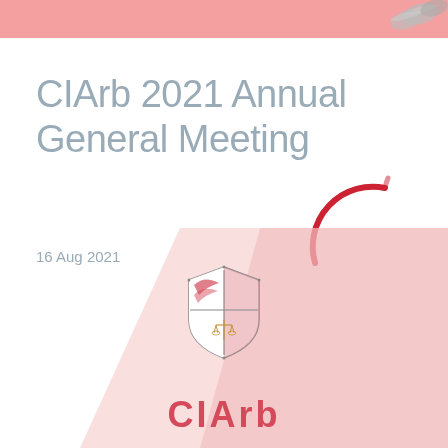[Figure (illustration): Pink/salmon horizontal banner across the top of the page with decorative coin/circle elements in the upper right corner]
CIArb 2021 Annual General Meeting
16 Aug 2021
[Figure (logo): Red curved arc/swirl element, part of CIArb branding, positioned center-right below the title]
[Figure (illustration): Pink parallelogram decorative shape in the lower right area of the page, angled diagonally]
[Figure (logo): CIArb heraldic shield/crest logo centered in the lower portion of the page, with pink and white coloring and a cross with scales motif]
CIArb